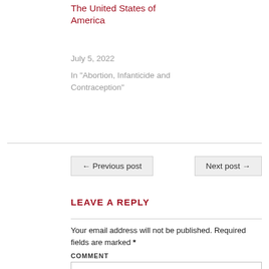The United States of America
July 5, 2022
In "Abortion, Infanticide and Contraception"
← Previous post
Next post →
LEAVE A REPLY
Your email address will not be published. Required fields are marked *
COMMENT